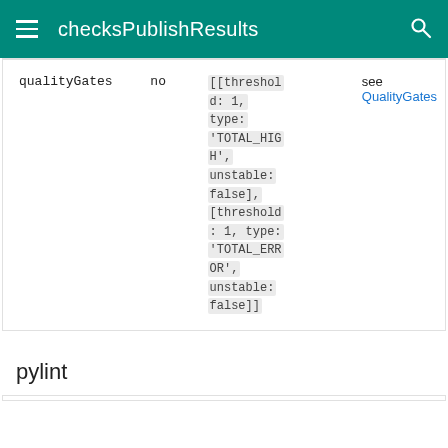checksPublishResults
| qualityGates | no | [[threshold: 1, type: 'TOTAL_HIGH', unstable: false], [threshold: 1, type: 'TOTAL_ERROR', unstable: false]] | see QualityGates |
pylint